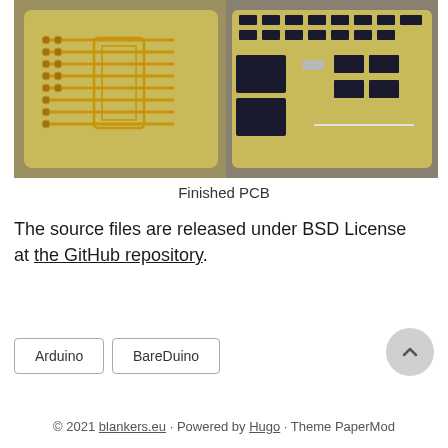[Figure (photo): Two side-by-side photos of a finished PCB (printed circuit board). Left photo shows the bare PCB with copper traces visible on a yellow-green substrate. Right photo shows the assembled PCB with electronic components (ICs, connectors) soldered on.]
Finished PCB
The source files are released under BSD License at the GitHub repository.
Arduino
BareDuino
© 2021 blankers.eu · Powered by Hugo · Theme PaperMod